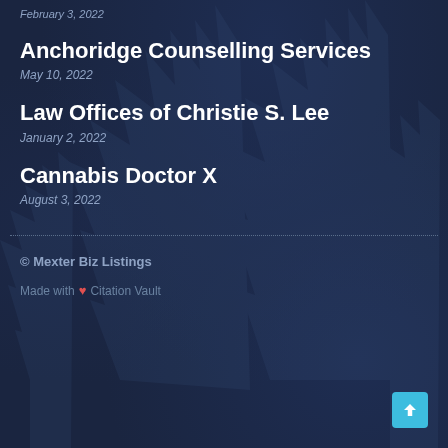February 3, 2022
Anchoridge Counselling Services
May 10, 2022
Law Offices of Christie S. Lee
January 2, 2022
Cannabis Doctor X
August 3, 2022
© Mexter Biz Listings
Made with ❤ Citation Vault